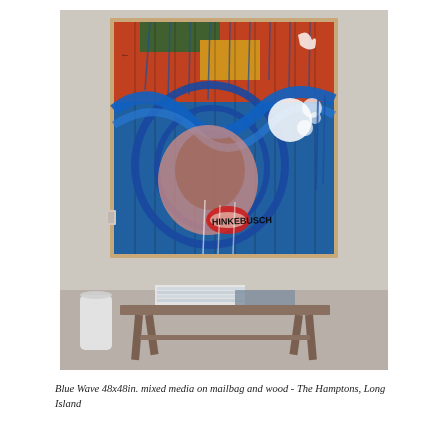[Figure (photo): Photograph of a large abstract mixed media painting hung on a white wall above a rustic wooden bench with art books on it. The painting depicts a stylized face with bold blue, red, orange, and white brushstrokes and drips, with the artist signature 'HINKEBUSCH' visible. A white cylindrical object (trash can or speaker) is visible to the left of the bench.]
Blue Wave 48x48in. mixed media on mailbag and wood - The Hamptons, Long Island